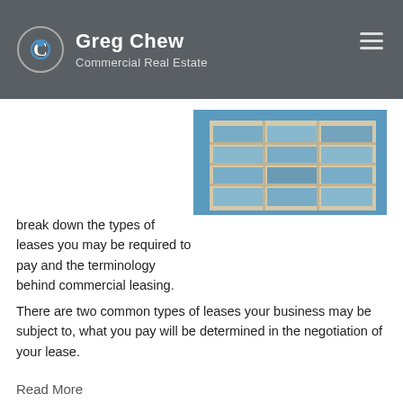Greg Chew | Commercial Real Estate
break down the types of leases you may be required to pay and the terminology behind commercial leasing. There are two common types of leases your business may be subject to, what you pay will be determined in the negotiation of your lease.
[Figure (photo): A modern commercial office building with glass and concrete facade photographed from below against a blue sky]
Read More
0 Comments Click here to read/write comments
Topics: commercial real estate, Leasing